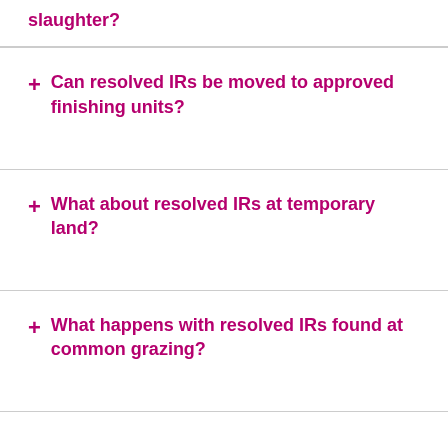slaughter?
Can resolved IRs be moved to approved finishing units?
What about resolved IRs at temporary land?
What happens with resolved IRs found at common grazing?